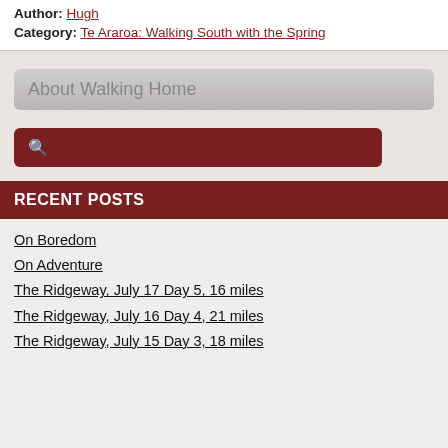Author: Hugh
Category: Te Araroa: Walking South with the Spring
About Walking Home
RECENT POSTS
On Boredom
On Adventure
The Ridgeway, July 17 Day 5, 16 miles
The Ridgeway, July 16 Day 4, 21 miles
The Ridgeway, July 15 Day 3, 18 miles